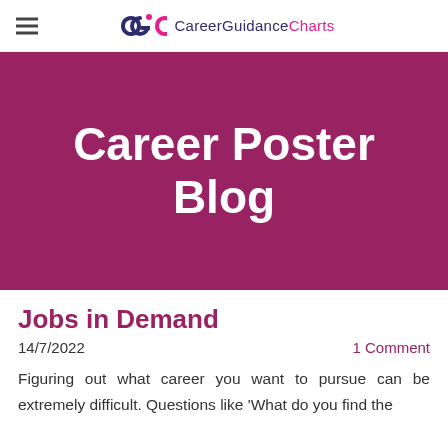CareerGuidanceCharts
Career Poster Blog
Jobs in Demand
14/7/2022   1 Comment
Figuring out what career you want to pursue can be extremely difficult. Questions like 'What do you find the